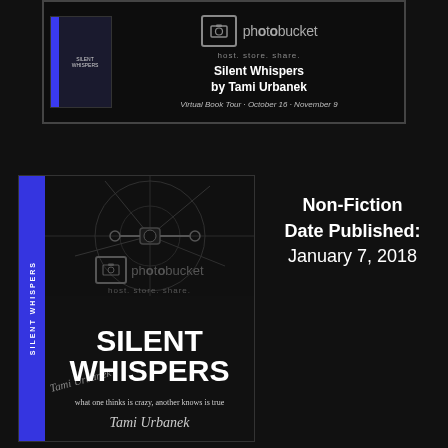[Figure (illustration): Top banner with RAET Book Tour branding showing Silent Whispers by Tami Urbanek with Photobucket placeholder image and book thumbnail. Text: Virtual Book Tour - October 16 - November 9]
[Figure (photo): Book cover of Silent Whispers by Tami Urbanek. Dark background with drone/mechanical art, blue spine with title text, Photobucket placeholder, title SILENT WHISPERS in large bold white text, tagline 'what one thinks is crazy, another knows is true', and author signature Tami Urbanek]
Non-Fiction
Date Published: January 7, 2018